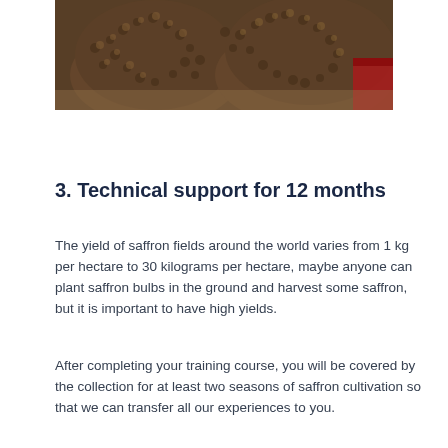[Figure (photo): Close-up photograph of dark brown saffron corms/bulbs piled together, with a red container visible in the background]
3. Technical support for 12 months
The yield of saffron fields around the world varies from 1 kg per hectare to 30 kilograms per hectare, maybe anyone can plant saffron bulbs in the ground and harvest some saffron, but it is important to have high yields.
After completing your training course, you will be covered by the collection for at least two seasons of saffron cultivation so that we can transfer all our experiences to you.